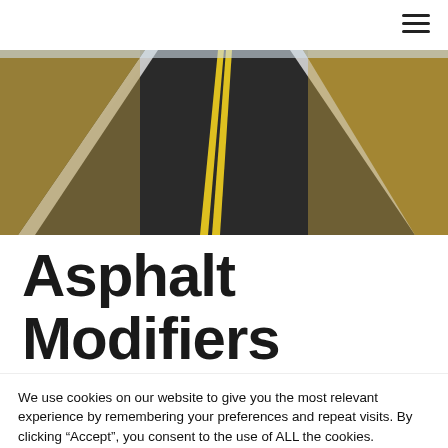[Figure (photo): A two-lane asphalt road curving into the distance with yellow center lines and white edge lines, dry grass hills on both sides, clear sky, daytime.]
Asphalt Modifiers
We use cookies on our website to give you the most relevant experience by remembering your preferences and repeat visits. By clicking “Accept”, you consent to the use of ALL the cookies.
Do not sell my personal information.
Cookie Settings  Accept